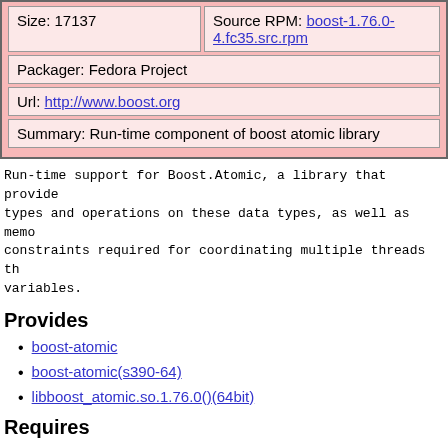| Size: 17137 | Source RPM: boost-1.76.0-4.fc35.src.rpm |
| Packager: Fedora Project |  |
| Url: http://www.boost.org |  |
| Summary: Run-time component of boost atomic library |  |
Run-time support for Boost.Atomic, a library that provides atomic data types and operations on these data types, as well as memory ordering constraints required for coordinating multiple threads through shared variables.
Provides
boost-atomic
boost-atomic(s390-64)
libboost_atomic.so.1.76.0()(64bit)
Requires
libc.so.6()(64bit)
libc.so.6(GLIBC_2.2)(64bit)
libc.so.6(GLIBC_2.4)(64bit)